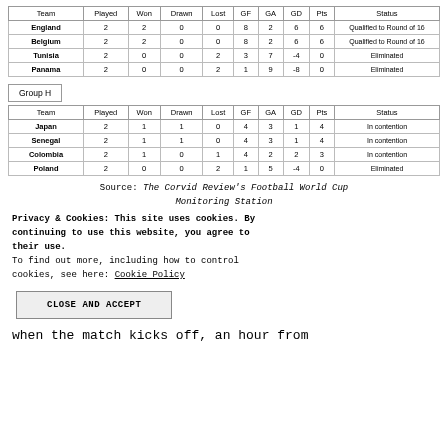| Team | Played | Won | Drawn | Lost | GF | GA | GD | Pts | Status |
| --- | --- | --- | --- | --- | --- | --- | --- | --- | --- |
| England | 2 | 2 | 0 | 0 | 8 | 2 | 6 | 6 | Qualified to Round of 16 |
| Belgium | 2 | 2 | 0 | 0 | 8 | 2 | 6 | 6 | Qualified to Round of 16 |
| Tunisia | 2 | 0 | 0 | 2 | 3 | 7 | -4 | 0 | Eliminated |
| Panama | 2 | 0 | 0 | 2 | 1 | 9 | -8 | 0 | Eliminated |
Group H
| Team | Played | Won | Drawn | Lost | GF | GA | GD | Pts | Status |
| --- | --- | --- | --- | --- | --- | --- | --- | --- | --- |
| Japan | 2 | 1 | 1 | 0 | 4 | 3 | 1 | 4 | In contention |
| Senegal | 2 | 1 | 1 | 0 | 4 | 3 | 1 | 4 | In contention |
| Colombia | 2 | 1 | 0 | 1 | 4 | 2 | 2 | 3 | In contention |
| Poland | 2 | 0 | 0 | 2 | 1 | 5 | -4 | 0 | Eliminated |
Source: The Corvid Review's Football World Cup Monitoring Station
Privacy & Cookies: This site uses cookies. By continuing to use this website, you agree to their use.
To find out more, including how to control cookies, see here: Cookie Policy
CLOSE AND ACCEPT
when the match kicks off, an hour from